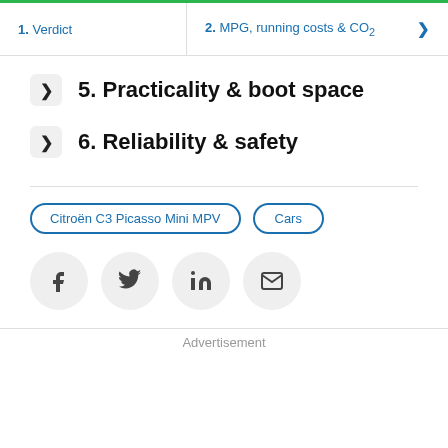1. Verdict | 2. MPG, running costs & CO2
5. Practicality & boot space
6. Reliability & safety
Citroën C3 Picasso Mini MPV | Cars
[Figure (infographic): Social sharing icons: Facebook, Twitter, LinkedIn, Email]
Advertisement